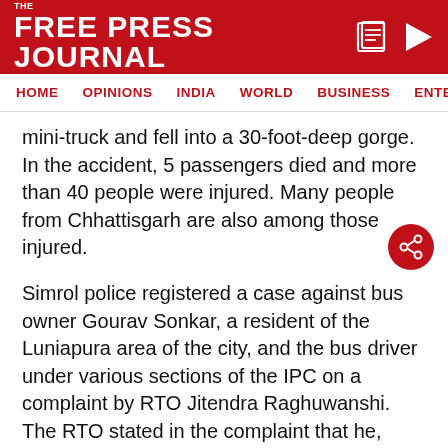THE FREE PRESS JOURNAL
HOME | OPINIONS | INDIA | WORLD | BUSINESS | ENTERTAIN
mini-truck and fell into a 30-foot-deep gorge. In the accident, 5 passengers died and more than 40 people were injured. Many people from Chhattisgarh are also among those injured.
Simrol police registered a case against bus owner Gourav Sonkar, a resident of the Luniapura area of the city, and the bus driver under various sections of the IPC on a complaint by RTO Jitendra Raghuwanshi. The RTO stated in the complaint that he, along with his subordinates, reached the spot
ADVERTISEMENT